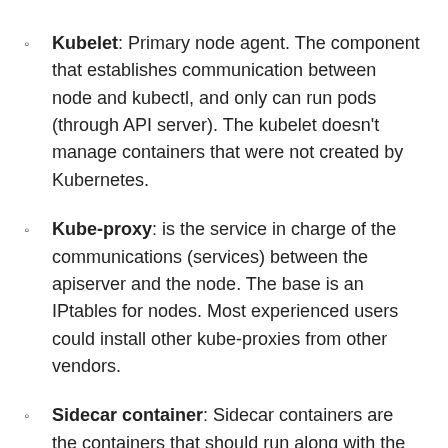Kubelet: Primary node agent. The component that establishes communication between node and kubectl, and only can run pods (through API server). The kubelet doesn't manage containers that were not created by Kubernetes.
Kube-proxy: is the service in charge of the communications (services) between the apiserver and the node. The base is an IPtables for nodes. Most experienced users could install other kube-proxies from other vendors.
Sidecar container: Sidecar containers are the containers that should run along with the main container in the pod. This sidecar pattern extends and enhances